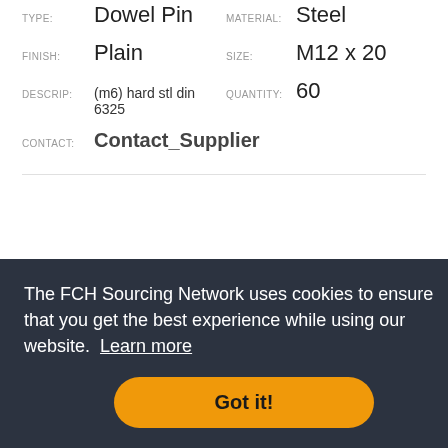TYPE: Dowel Pin   MATERIAL: Steel (partial, top of page)
FINISH: Plain   SIZE: M12 x 20
DESCRIP: (m6) hard stl din 6325   QUANTITY: 60
CONTACT: Contact_Supplier
SUPPLIER: FTS   LOCATION: OH
TYPE: Dowel Pin   MATERIAL: Steel
FINISH: Plain   SIZE: M12 x 40
DESCRIP: (h6) hard stl din 6325   QUANTITY: 9
The FCH Sourcing Network uses cookies to ensure that you get the best experience while using our website. Learn more
Got it!
DESCRIP: (h6) hard stl din 6325   QUANTITY: 1